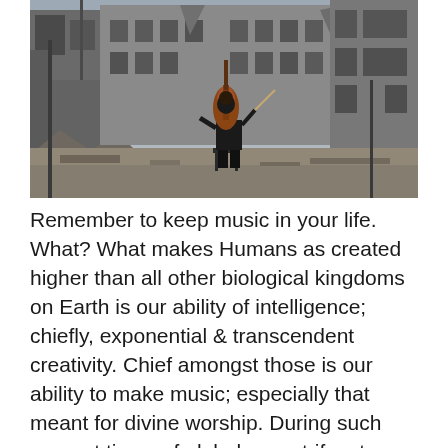[Figure (photo): A cellist sits on a chair in the middle of a war-damaged street, playing cello amid rubble and destroyed buildings under a grey sky.]
Remember to keep music in your life. What? What makes Humans as created higher than all other biological kingdoms on Earth is our ability of intelligence; chiefly, exponential & transcendent creativity. Chief amongst those is our ability to make music; especially that meant for divine worship. During such present times of global war, strife, stress, turmoil & upheavals (this is not a "political" post), what keeps us as risen above the dumb brutes is our sensitivity to beauty; especially as we find in